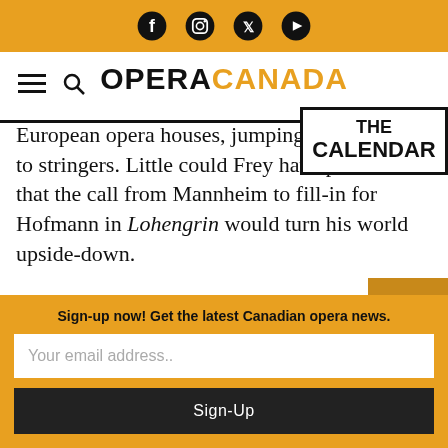Social media icons (Facebook, Instagram, Twitter, YouTube) on orange bar
OPERA CANADA — THE CALENDAR
European opera houses, jumping [from fringes] to stringers. Little could Frey have predicted that the call from Mannheim to fill-in for Hofmann in Lohengrin would turn his world upside-down.
Sign-up now! Get the latest Canadian opera news.
Your email address..
Sign-Up